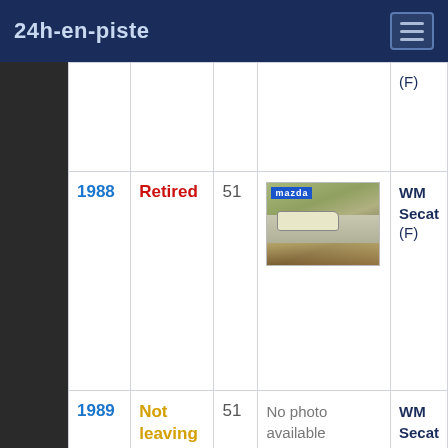24h-en-piste
| Year | Result | Car # | Photo | Team |
| --- | --- | --- | --- | --- |
|  |  |  |  | (F) |
| 1988 | Retired | 51 | [photo] | WM Secat
(F) |
| 1989 | Not leaving | 51 | No photo available | WM Secat |